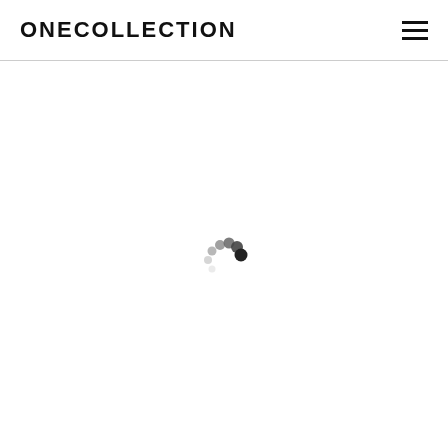ONECOLLECTION
[Figure (other): Loading spinner with dots arranged in a circular arc pattern, dots ranging from small/light to large/dark indicating a loading state]